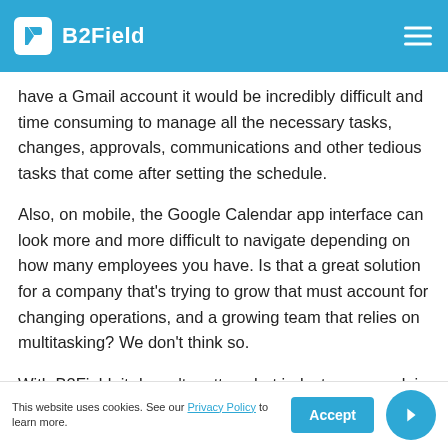B2Field
have a Gmail account it would be incredibly difficult and time consuming to manage all the necessary tasks, changes, approvals, communications and other tedious tasks that come after setting the schedule.
Also, on mobile, the Google Calendar app interface can look more and more difficult to navigate depending on how many employees you have. Is that a great solution for a company that’s trying to grow that must account for changing operations, and a growing team that relies on multitasking? We don’t think so.
With B2Field, it doesn’t matter what industry you work in or how many employees your SMB has. It’s easy to schedule your mobile workforce based on their availability, proximity, past performance data and more. All you have to do is assign wh…ey complete and confirm, and you ca…
This website uses cookies. See our Privacy Policy to learn more.